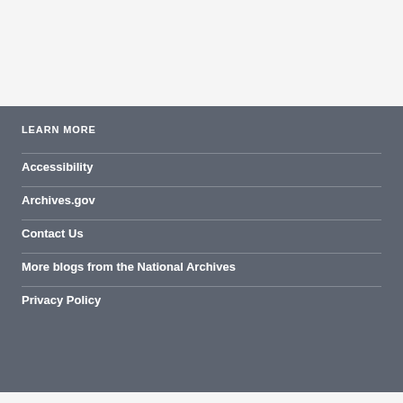LEARN MORE
Accessibility
Archives.gov
Contact Us
More blogs from the National Archives
Privacy Policy